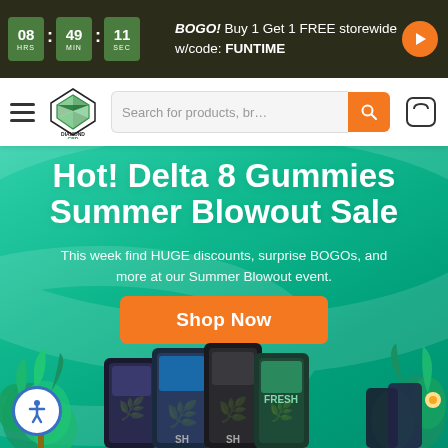BOGO! Buy 1 Get 1 FREE storewide w/code: FUNTIME — Timer: 08 HRS : 49 MIN : 11 SEC
[Figure (logo): Diamond CBD logo — diamond shape with DIAMOND CBD text]
Search for products, br…
Hot! Delta 8 Gummies Summer Blowout Sale
This week find HUGE discounts, surprise BOGOs, and more at our Summer Blowout event.
Shop Now
[Figure (photo): Assorted Delta 8 gummy product jars/packages displayed at bottom of hero banner with tropical plants]